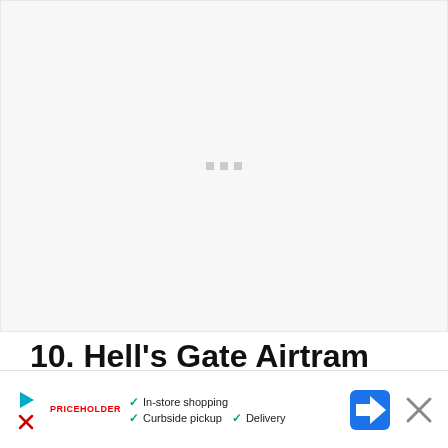[Figure (photo): Loading placeholder area with three small grey squares centered, indicating an image is loading]
10. Hell's Gate Airtram
[Figure (infographic): Advertisement bar with play/stop controls, red logo text, checkmarks for In-store shopping, Curbside pickup, Delivery, a blue navigation icon, and an X close button]